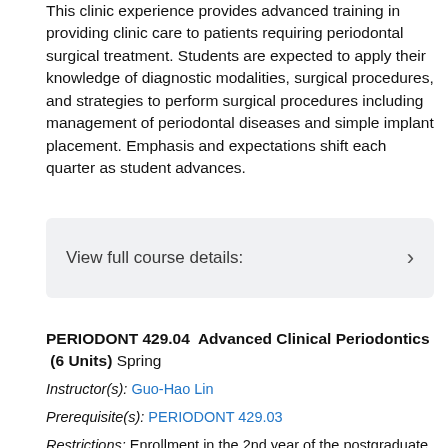This clinic experience provides advanced training in providing clinic care to patients requiring periodontal surgical treatment. Students are expected to apply their knowledge of diagnostic modalities, surgical procedures, and strategies to perform surgical procedures including management of periodontal diseases and simple implant placement. Emphasis and expectations shift each quarter as student advances.
View full course details:  >
PERIODONT 429.04  Advanced Clinical Periodontics  (6 Units)  Spring
Instructor(s): Guo-Hao Lin
Prerequisite(s): PERIODONT 429.03
Restrictions: Enrollment in the 2nd year of the postgraduate periodontology program